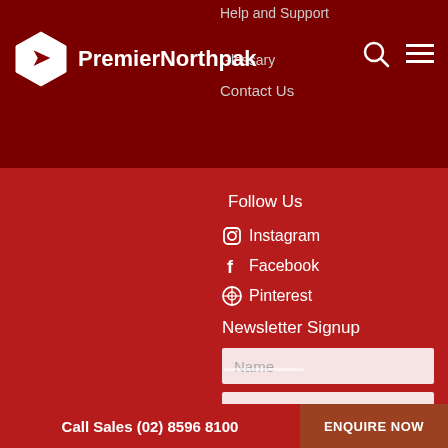Help and Support
Glossary
Contact Us
[Figure (logo): PremierNorthpak hexagon logo with arrow icon and brand name]
Follow Us
Instagram
Facebook
Pinterest
Newsletter Signup
Name
Enter your email address...
I'm not a robot
reCAPTCHA
Privacy · Terms
Call Sales (02) 8596 8100  ENQUIRE NOW